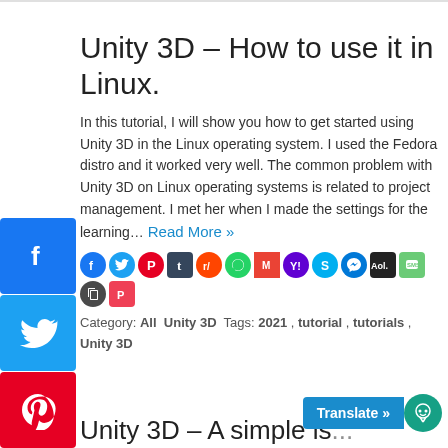Unity 3D – How to use it in Linux.
In this tutorial, I will show you how to get started using Unity 3D in the Linux operating system. I used the Fedora distro and it worked very well. The common problem with Unity 3D on Linux operating systems is related to project management. I met her when I made the settings for the learning… Read More »
[Figure (infographic): Row of social sharing icons: Facebook, Twitter, Pinterest, Tumblr, Reddit, WhatsApp, Gmail, Yahoo, Skype, Messenger, AOL, SMS, Copy Link, Pocket]
Category: All  Unity 3D  Tags: 2021 , tutorial , tutorials , Unity 3D
Unity 3D – A simple is...